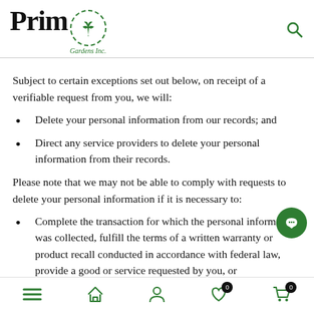Prim Gardens Inc. [logo with cannabis leaf]
Subject to certain exceptions set out below, on receipt of a verifiable request from you, we will:
Delete your personal information from our records; and
Direct any service providers to delete your personal information from their records.
Please note that we may not be able to comply with requests to delete your personal information if it is necessary to:
Complete the transaction for which the personal information was collected, fulfill the terms of a written warranty or product recall conducted in accordance with federal law, provide a good or service requested by you, or